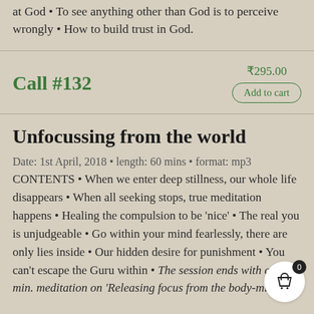at God • To see anything other than God is to perceive wrongly • How to build trust in God.
Call #132
₹295.00
Add to cart
Unfocussing from the world
Date: 1st April, 2018 • length: 60 mins • format: mp3  CONTENTS • When we enter deep stillness, our whole life disappears • When all seeking stops, true meditation happens • Healing the compulsion to be 'nice' • The real you is unjudgeable • Go within your mind fearlessly, there are only lies inside • Our hidden desire for punishment • You can't escape the Guru within • The session ends with a 30 min. meditation on 'Releasing focus from the body-mind world'.